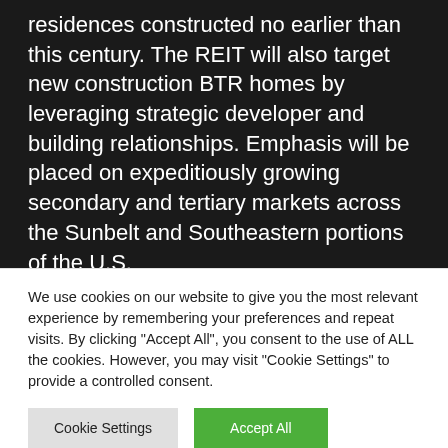NexPoint advised REIT will zero in on residences constructed no earlier than this century. The REIT will also target new construction BTR homes by leveraging strategic developer and building relationships. Emphasis will be placed on expeditiously growing secondary and tertiary markets across the Sunbelt and Southeastern portions of the U.S.

This newly announced initiative will enable NexPoint, as the parent of the adviser to one of the
We use cookies on our website to give you the most relevant experience by remembering your preferences and repeat visits. By clicking "Accept All", you consent to the use of ALL the cookies. However, you may visit "Cookie Settings" to provide a controlled consent.